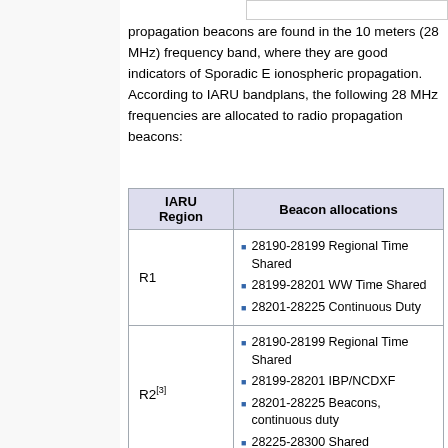propagation beacons are found in the 10 meters (28 MHz) frequency band, where they are good indicators of Sporadic E ionospheric propagation. According to IARU bandplans, the following 28 MHz frequencies are allocated to radio propagation beacons:
| IARU Region | Beacon allocations |
| --- | --- |
| R1 | 28190-28199 Regional Time Shared
28199-28201 WW Time Shared
28201-28225 Continuous Duty |
| R2[3] | 28190-28199 Regional Time Shared
28199-28201 IBP/NCDXF
28201-28225 Beacons, continuous duty
28225-28300 Shared |